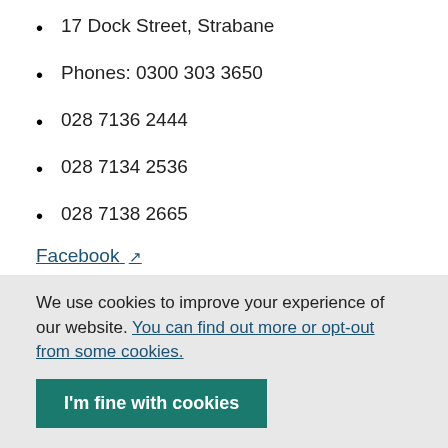17 Dock Street, Strabane
Phones: 0300 303 3650
028 7136 2444
028 7134 2536
028 7138 2665
Facebook ↗
Help us improve our website
We use cookies to improve your experience of our website. You can find out more or opt-out from some cookies.
I'm fine with cookies